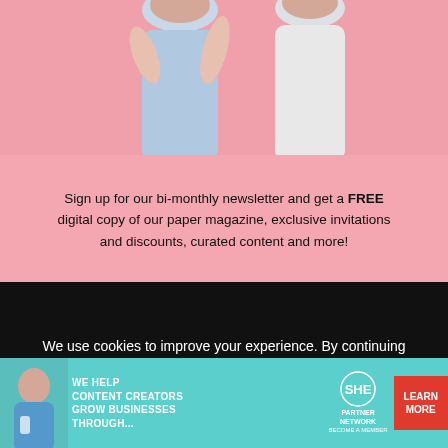[Figure (photo): Two women standing on pink background, partially cropped at top of page]
Sign up for our bi-monthly newsletter and get a FREE digital copy of our paper magazine, exclusive invitations and discounts, curated content and more!
We use cookies to improve your experience. By continuing to use this site, you accept the use of cookies. Privacy Policy Accept
[Figure (photo): Come Visit Our Shop! handwritten text with woman on pink background]
[Figure (infographic): SHE Partner Network advertisement banner: WE HELP CONTENT CREATORS GROW BUSINESSES THROUGH... LEARN MORE]